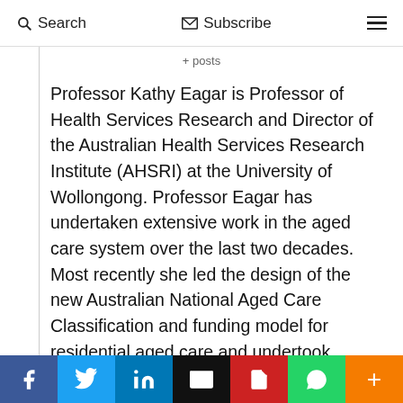Search   Subscribe
+ posts
Professor Kathy Eagar is Professor of Health Services Research and Director of the Australian Health Services Research Institute (AHSRI) at the University of Wollongong. Professor Eagar has undertaken extensive work in the aged care system over the last two decades. Most recently she led the design of the new Australian National Aged Care Classification and funding model for residential aged care and undertook research commissioned by